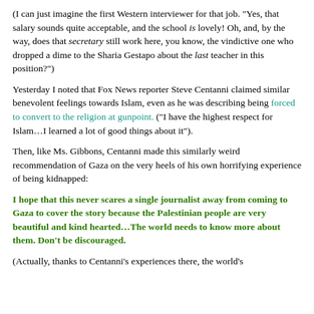(I can just imagine the first Western interviewer for that job. "Yes, that salary sounds quite acceptable, and the school is lovely! Oh, and, by the way, does that secretary still work here, you know, the vindictive one who dropped a dime to the Sharia Gestapo about the last teacher in this position?")
Yesterday I noted that Fox News reporter Steve Centanni claimed similar benevolent feelings towards Islam, even as he was describing being forced to convert to the religion at gunpoint. ("I have the highest respect for Islam…I learned a lot of good things about it").
Then, like Ms. Gibbons, Centanni made this similarly weird recommendation of Gaza on the very heels of his own horrifying experience of being kidnapped:
I hope that this never scares a single journalist away from coming to Gaza to cover the story because the Palestinian people are very beautiful and kind hearted…The world needs to know more about them. Don't be discouraged.
(Actually, thanks to Centanni's experiences there, the world's